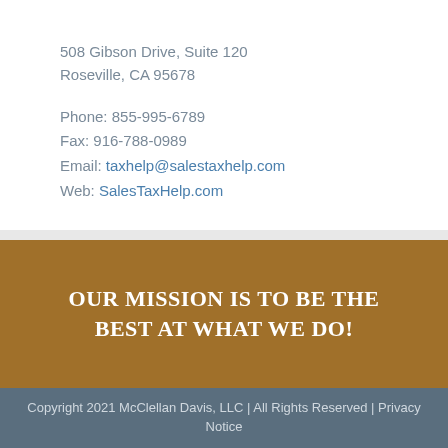508 Gibson Drive, Suite 120
Roseville, CA 95678
Phone: 855-995-6789
Fax: 916-788-0989
Email: taxhelp@salestaxhelp.com
Web: SalesTaxHelp.com
OUR MISSION IS TO BE THE BEST AT WHAT WE DO!
Copyright 2021 McClellan Davis, LLC | All Rights Reserved | Privacy Notice